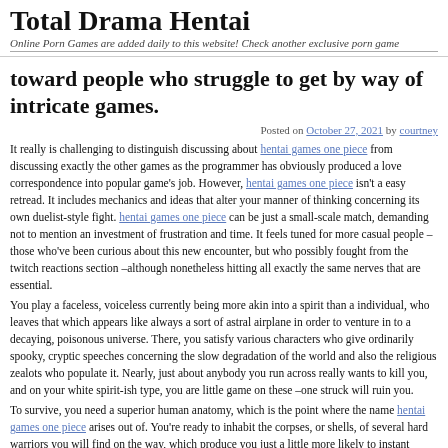Total Drama Hentai
Online Porn Games are added daily to this website! Check another exclusive porn game
…toward people who struggle to get by way of intricate games.
Posted on October 27, 2021 by courtney
It really is challenging to distinguish discussing about hentai games one piece from discussing exactly the other games as the programmer has obviously produced a love correspondence into popular game's job. However, hentai games one piece isn't a easy retread. It includes mechanics and ideas that alter your manner of thinking concerning its own duelist-style fight. hentai games one piece can be just a small-scale match, demanding not to mention an investment of frustration and time. It feels tuned for more casual people –those who've been curious about this new encounter, but who possibly fought from the twitch reactions section –although nonetheless hitting all exactly the same nerves that are essential.
You play a faceless, voiceless currently being more akin into a spirit than a individual, who leaves that which appears like always a sort of astral airplane in order to venture in to a decaying, poisonous universe. There, you satisfy various characters who give ordinarily spooky, cryptic speeches concerning the slow degradation of the world and also the religious zealots who populate it. Nearly, just about anybody you run across really wants to kill you, and on your white spirit-ish type, you are little game on these –one struck will ruin you.
To survive, you need a superior human anatomy, which is the point where the name hentai games one piece arises out of. You're ready to inhabit the corpses, or shells, of several hard warriors you will find on the way, which produce you just a little more likely to instant departure. The four shells at the game each perform with a bit differently from one another offering…